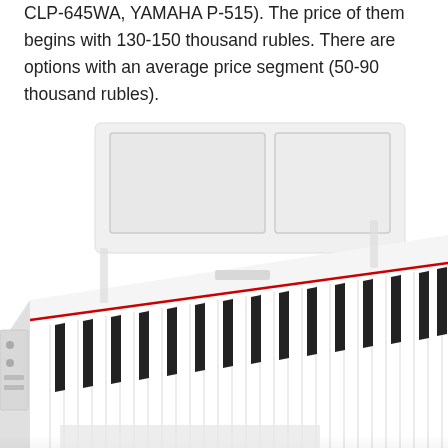CLP-645WA, YAMAHA P-515). The price of them begins with 130-150 thousand rubles. There are options with an average price segment (50-90 thousand rubles).
[Figure (photo): A white Yamaha digital piano (P-series) shown at an angle from above, displaying the full keyboard with black and white keys and a white music rest/stand positioned at the back.]